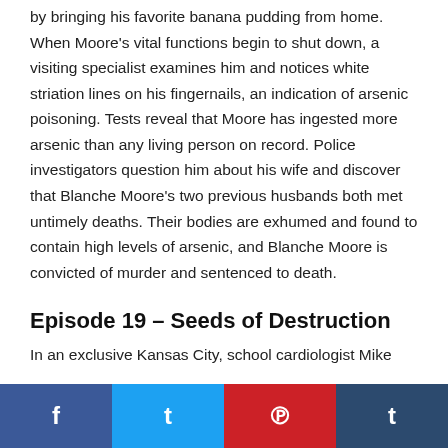by bringing his favorite banana pudding from home. When Moore's vital functions begin to shut down, a visiting specialist examines him and notices white striation lines on his fingernails, an indication of arsenic poisoning. Tests reveal that Moore has ingested more arsenic than any living person on record. Police investigators question him about his wife and discover that Blanche Moore's two previous husbands both met untimely deaths. Their bodies are exhumed and found to contain high levels of arsenic, and Blanche Moore is convicted of murder and sentenced to death.
Episode 19 – Seeds of Destruction
In an exclusive Kansas City, school cardiologist Mike
f  t  p  t